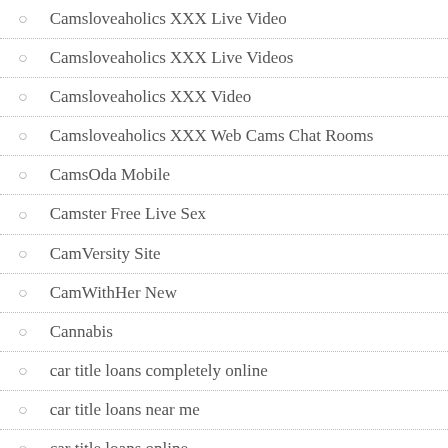Camsloveaholics XXX Live Video
Camsloveaholics XXX Live Videos
Camsloveaholics XXX Video
Camsloveaholics XXX Web Cams Chat Rooms
CamsOda Mobile
Camster Free Live Sex
CamVersity Site
CamWithHer New
Cannabis
car title loans completely online
car title loans near me
car title loans online